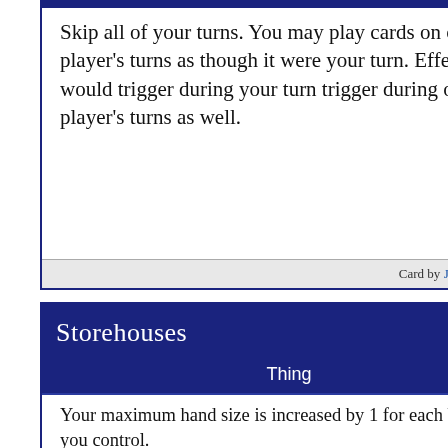Skip all of your turns. You may play cards on other player's turns as though it were your turn. Effects that would trigger during your turn trigger during other player's turns as well.
Card by JakeTheWolfie
Storehouses
Thing
Your maximum hand size is increased by 1 for each building you control. Action: Gain a Crate token, or two Crate tokens if you control another building. Action: Destroy a Crate you